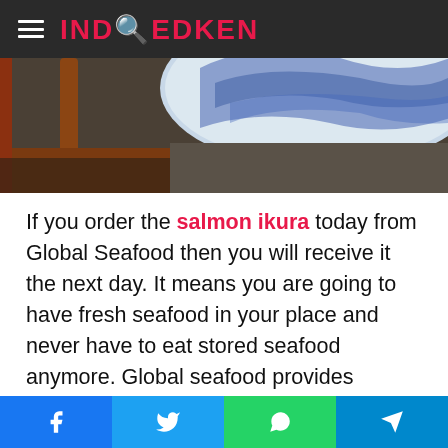IND_EDKEN
[Figure (photo): Top portion of a food/seafood dish photo with blue and white patterned ceramic bowl on a wooden surface]
If you order the salmon ikura today from Global Seafood then you will receive it the next day. It means you are going to have fresh seafood in your place and never have to eat stored seafood anymore. Global seafood provides seafood with nutrients to the people who have to miss the seafood due to lack of availability. You will love the seafood that makes you happy with the fresh taste and it is the best part when you get fresh seafood to eat. You will have to order it today and get it the next day. So, you don't have to compromise with the taste. It will make your meal tastier and healthier. It is the right time
Facebook | Twitter | WhatsApp | Telegram